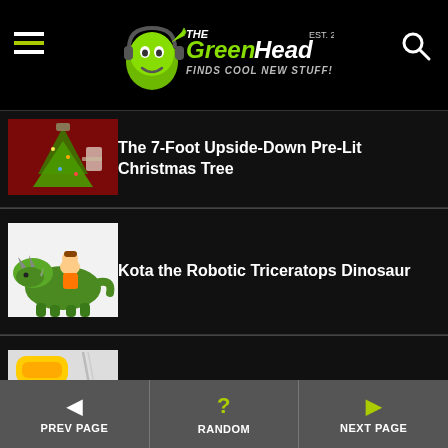The GreenHead - Finds Cool New Stuff!
The 7-Foot Upside-Down Pre-Lit Christmas Tree
Kota the Robotic Triceratops Dinosaur
Curl-A-Dog - Spiral Hot Dog Slicer
PREV PAGE | RANDOM | NEXT PAGE